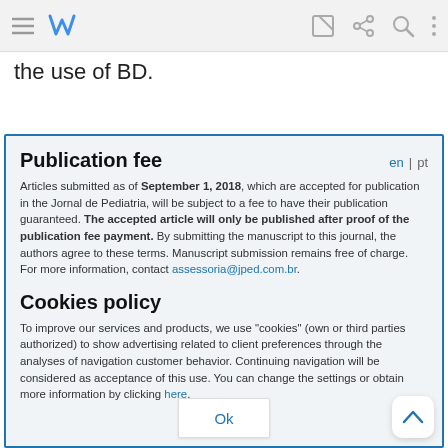toolbar with menu, logo, and navigation icons
the use of BD.
Publication fee
Articles submitted as of September 1, 2018, which are accepted for publication in the Jornal de Pediatria, will be subject to a fee to have their publication guaranteed. The accepted article will only be published after proof of the publication fee payment. By submitting the manuscript to this journal, the authors agree to these terms. Manuscript submission remains free of charge. For more information, contact assessoria@jped.com.br.
Cookies policy
To improve our services and products, we use "cookies" (own or third parties authorized) to show advertising related to client preferences through the analyses of navigation customer behavior. Continuing navigation will be considered as acceptance of this use. You can change the settings or obtain more information by clicking here.